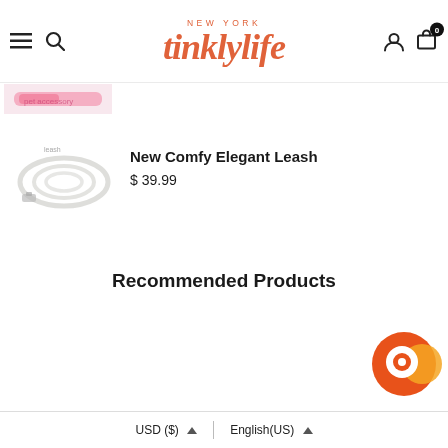[Figure (logo): tinklylife New York brand logo in orange/coral script font with hamburger menu, search, user, and bag icons in navigation bar]
[Figure (photo): Partial pink pet accessory product image at top left (cropped)]
[Figure (photo): White dog leash product image on the left side]
New Comfy Elegant Leash
$ 39.99
Recommended Products
[Figure (other): Chat support bubble icon (orange circle with white chat bubble) at bottom right]
USD ($) ▲ | English(US) ▲